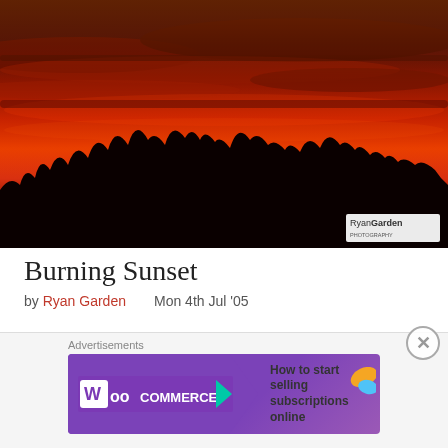[Figure (photo): Dramatic burning sunset photograph with deep red and orange sky, silhouetted trees along the horizon. RyanGarden Photography watermark in bottom right corner.]
Burning Sunset
by Ryan Garden   Mon 4th Jul '05
[Figure (photo): Second sunset photo, darker, showing warm amber/orange light, partially visible at bottom of page.]
Advertisements
[Figure (other): WooCommerce advertisement banner: 'How to start selling subscriptions online']